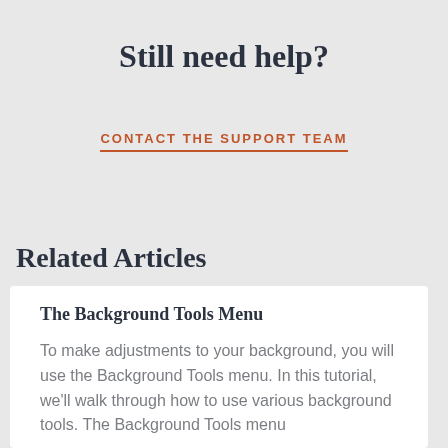Still need help?
CONTACT THE SUPPORT TEAM
Related Articles
The Background Tools Menu
To make adjustments to your background, you will use the Background Tools menu. In this tutorial, we'll walk through how to use various background tools. The Background Tools menu